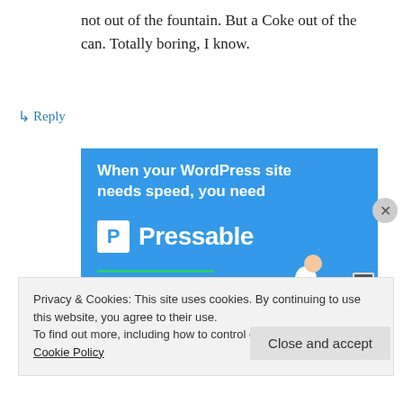not out of the fountain. But a Coke out of the can. Totally boring, I know.
↳ Reply
[Figure (advertisement): Pressable WordPress hosting advertisement on blue background with white bold text 'When your WordPress site needs speed, you need Pressable', green underline, and a flying person with laptop]
Privacy & Cookies: This site uses cookies. By continuing to use this website, you agree to their use.
To find out more, including how to control cookies, see here: Cookie Policy
Close and accept